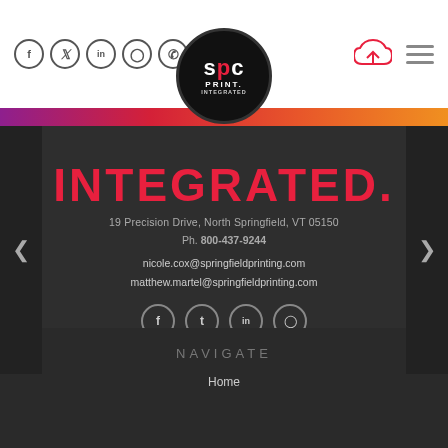[Figure (logo): SPC Print Integrated company logo - dark circular badge with white text]
Social icons (Facebook, Twitter, LinkedIn, Instagram, Phone) | Upload icon | Hamburger menu
INTEGRATED.
19 Precision Drive, North Springfield, VT 05150
Ph. 800-437-9244
nicole.cox@springfieldprinting.com
matthew.martel@springfieldprinting.com
[Figure (infographic): Social media icon row: Facebook, Twitter, LinkedIn, Instagram circles]
© Springfield Printing Corp. All rights reserved.
NAVIGATE
Home